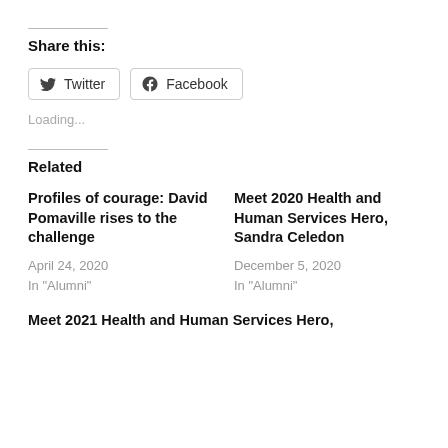Share this:
[Figure (other): Twitter and Facebook share buttons]
Loading...
Related
Profiles of courage: David Pomaville rises to the challenge
April 24, 2020
In "Alumni"
Meet 2020 Health and Human Services Hero, Sandra Celedon
December 5, 2020
In "Alumni"
Meet 2021 Health and Human Services Hero,